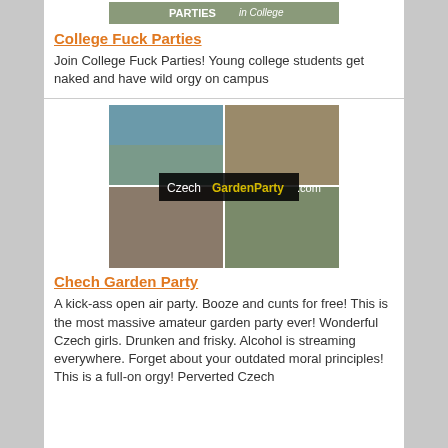[Figure (photo): College Fuck Parties banner image thumbnail]
College Fuck Parties
Join College Fuck Parties! Young college students get naked and have wild orgy on campus
[Figure (photo): CzechGardenParty.com collage of four party images with logo overlay]
Chech Garden Party
A kick-ass open air party. Booze and cunts for free! This is the most massive amateur garden party ever! Wonderful Czech girls. Drunken and frisky. Alcohol is streaming everywhere. Forget about your outdated moral principles! This is a full-on orgy! Perverted Czech